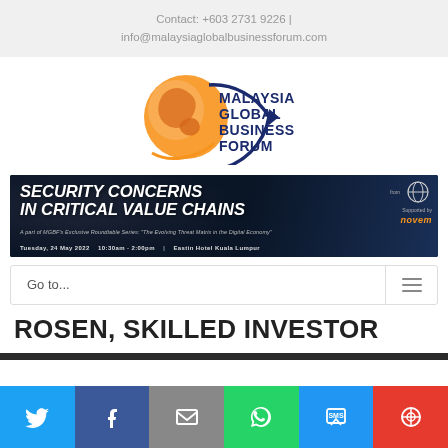Contact: +603 2731 9226 | info@malaysiaglobalbusinessforum.com
[Figure (logo): Malaysia Global Business Forum logo with orange globe and dark blue circular arrow, text reads MALAYSIA GLOBAL BUSINESS FORUM]
[Figure (other): Security Concerns in Critical Value Chains event banner - dark navy background with bold white italic text, subtitle: A part of MGBF's Exclusive Roundtable Series: 'The Evolving Threat Matrix in the Digital Economy'. Tuesday, 24 May 2022, 10:30am - 2:00pm, Eastin Hotel Kuala Lumpur]
Go to...
ROSEN, SKILLED INVESTOR